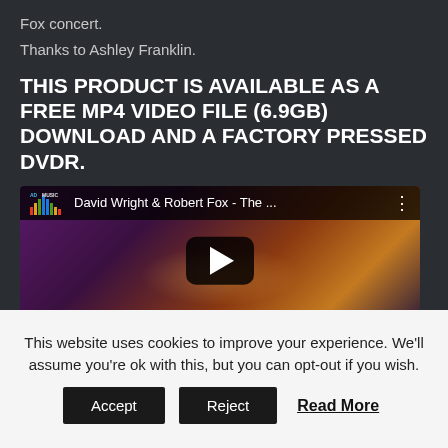Fox concert.
Thanks to Ashley Franklin.
THIS PRODUCT IS AVAILABLE AS A FREE MP4 VIDEO FILE (6.9GB) DOWNLOAD AND A FACTORY PRESSED DVDR.
[Figure (screenshot): YouTube video thumbnail showing David Wright & Robert Fox - The ... with play button overlay on a stage concert background with purple and orange lighting]
This website uses cookies to improve your experience. We'll assume you're ok with this, but you can opt-out if you wish.
Accept  Reject  Read More